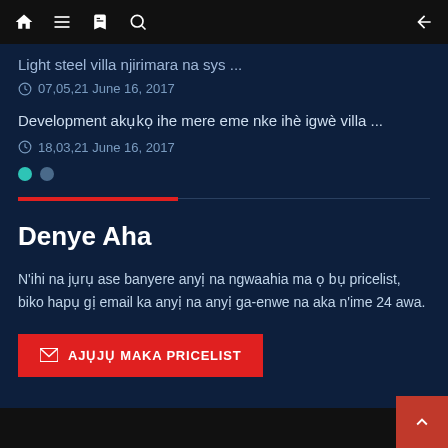Navigation bar with home, menu, bookmark, search, and back icons
Light steel villa njirimara na sys ...
07,05,21 June 16, 2017
Development akuko ihe mere eme nke ihè igwè villa ...
18,03,21 June 16, 2017
Denye Aha
N'ihi na jụrụ ase banyere anyị na ngwaahia ma ọ bụ pricelist, biko hapụ gị email ka anyị na anyị ga-enwe na aka n'ime 24 awa.
AJỤJỤ MAKA PRICELIST